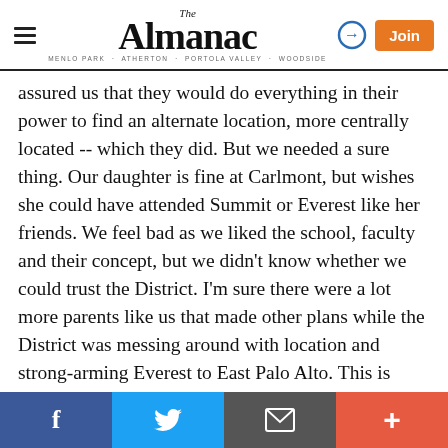The Almanac — Menlo Park · Atherton · Portola Valley · Woodside
assured us that they would do everything in their power to find an alternate location, more centrally located -- which they did. But we needed a sure thing. Our daughter is fine at Carlmont, but wishes she could have attended Summit or Everest like her friends. We feel bad as we liked the school, faculty and their concept, but we didn't know whether we could trust the District. I'm sure there were a lot more parents like us that made other plans while the District was messing around with location and strong-arming Everest to East Palo Alto. This is probably why Out-of-District parents got in at Everest, In-District families had been intimidated out of Everest by SUHSD. I do not believe Summit has enrolled any Out-of-District
Facebook | Twitter | Email | More